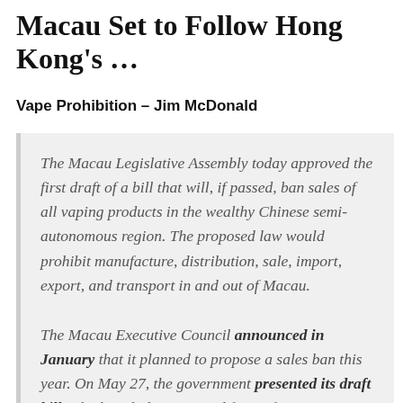Macau Set to Follow Hong Kong's …
Vape Prohibition – Jim McDonald
The Macau Legislative Assembly today approved the first draft of a bill that will, if passed, ban sales of all vaping products in the wealthy Chinese semi-autonomous region. The proposed law would prohibit manufacture, distribution, sale, import, export, and transport in and out of Macau.
The Macau Executive Council announced in January that it planned to propose a sales ban this year. On May 27, the government presented its draft bill, which includes proposed fines of 4,000 Macanese pataca